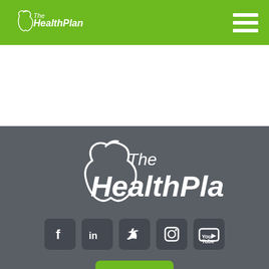[Figure (logo): The Health Plan logo in white on green header bar]
[Figure (logo): The Health Plan large white logo on dark gray footer section]
[Figure (infographic): Social media icons: Facebook, LinkedIn, Twitter, Instagram, YouTube on dark rounded square backgrounds]